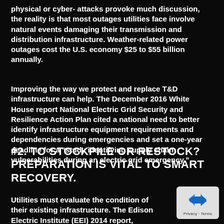physical or cyber- attacks provoke much discussion, the reality is that most outages utilities face involve natural events damaging their transmission and distribution infrastructure. Weather-related power outages cost the U.S. economy $25 to $55 billion annually.
Improving the way we protect and replace T&D infrastructure can help. The December 2016 White House report National Electric Grid Security and Resilience Action Plan cited a national need to better identify infrastructure equipment requirements and dependencies during emergencies and set a one-year deadline for a “study identifying supply chain vulnerabilities during an electric grid emergency.”
#2. TO STOCKPILE OR RESTOCK? PREPARATION IS VITAL TO SMART RECOVERY.
Utilities must evaluate the condition of their existing infrastructure. The Edison Electric Institute (EEI) 2014 report,